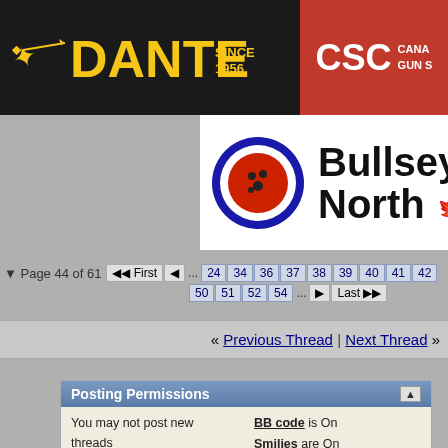[Figure (logo): Dante Sports banner with yellow text 'DANTE SINCE 1956' on black background, with bird silhouette logo]
[Figure (logo): CSC Canadian Gun Shop banner, red background with white CSC letters]
[Figure (logo): Bullseye North logo with circular target and maple leaf]
Page 44 of 61  First  ... 24 34 36 37 38 39 40 41 42 50 51 52 54 ... Last
« Previous Thread | Next Thread »
Posting Permissions
You may not post new threads
You may not post replies
You may not post attachments
You may not edit your posts
BB code is On
Smilies are On
[IMG] code is On
[VIDEO] code is On
HTML code is Off
Forum Rules